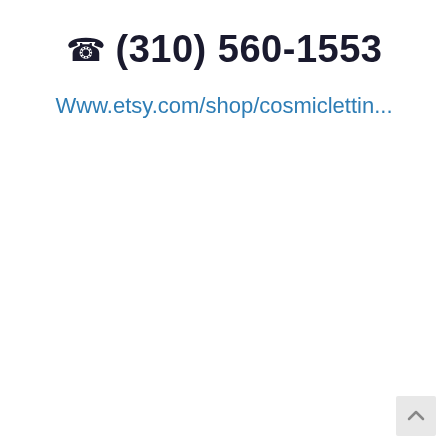☎ (310) 560-1553
Www.etsy.com/shop/cosmiclettin...